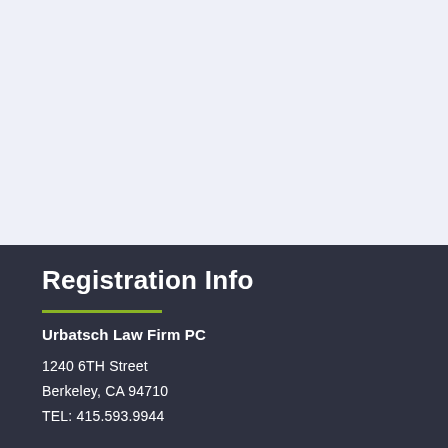Registration Info
Urbatsch Law Firm PC
1240 6TH Street
Berkeley, CA 94710
TEL: 415.593.9944